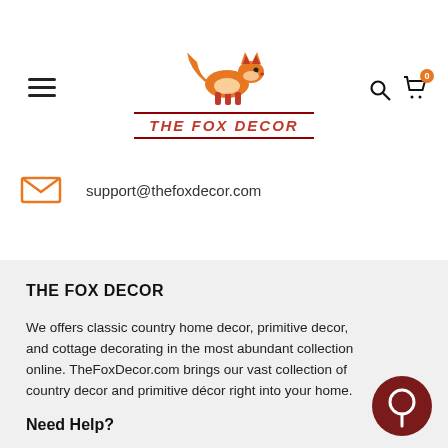[Figure (logo): The Fox Decor logo with orange fox illustration above dark red text 'THE FOX DECOR' with double border lines]
support@thefoxdecor.com
THE FOX DECOR
We offers classic country home decor, primitive decor, and cottage decorating in the most abundant collection online. TheFoxDecor.com brings our vast collection of country decor and primitive décor right into your home.
Need Help?